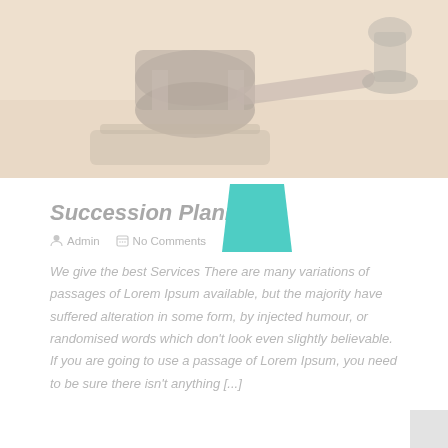[Figure (photo): Faded/muted photo of a judge's gavel and sound block on a wooden surface, with warm amber tones and high brightness/low contrast overlay]
Succession Planning
Admin   No Comments
We give the best Services There are many variations of passages of Lorem Ipsum available, but the majority have suffered alteration in some form, by injected humour, or randomised words which don't look even slightly believable. If you are going to use a passage of Lorem Ipsum, you need to be sure there isn't anything [...]